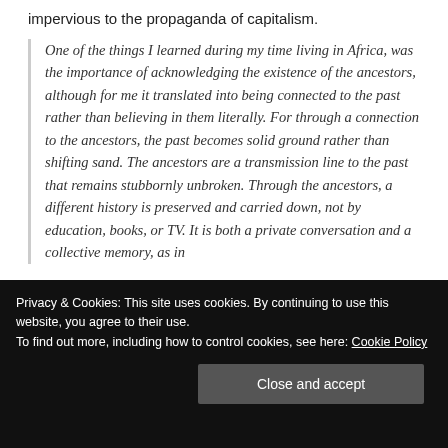impervious to the propaganda of capitalism.
One of the things I learned during my time living in Africa, was the importance of acknowledging the existence of the ancestors, although for me it translated into being connected to the past rather than believing in them literally. For through a connection to the ancestors, the past becomes solid ground rather than shifting sand. The ancestors are a transmission line to the past that remains stubbornly unbroken. Through the ancestors, a different history is preserved and carried down, not by education, books, or TV. It is both a private conversation and a collective memory, as in
Privacy & Cookies: This site uses cookies. By continuing to use this website, you agree to their use.
To find out more, including how to control cookies, see here: Cookie Policy
Close and accept